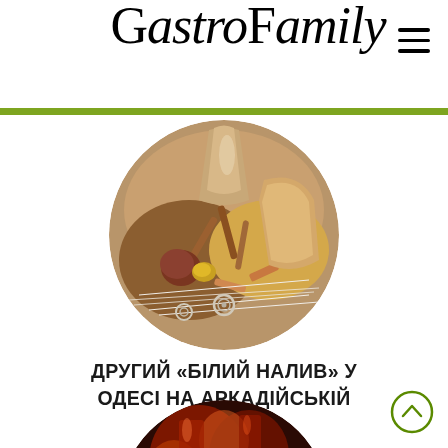GastroFamily
[Figure (photo): Circular cropped food photo showing spices, cinnamon sticks, mushrooms, and decorative food arrangement on a white stringy background]
ДРУГИЙ «БІЛИЙ НАЛИВ» У ОДЕСІ НА АРКАДІЙСЬКІЙ АЛЕЇ
[Figure (photo): Circular cropped photo of drinks/cocktails with dark warm lighting, partially visible at page bottom]